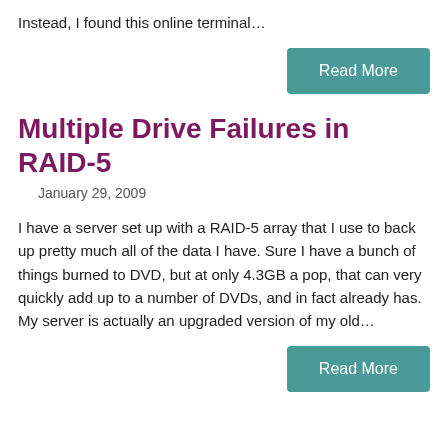Instead, I found this online terminal…
Read More
Multiple Drive Failures in RAID-5
January 29, 2009
I have a server set up with a RAID-5 array that I use to back up pretty much all of the data I have. Sure I have a bunch of things burned to DVD, but at only 4.3GB a pop, that can very quickly add up to a number of DVDs, and in fact already has. My server is actually an upgraded version of my old…
Read More